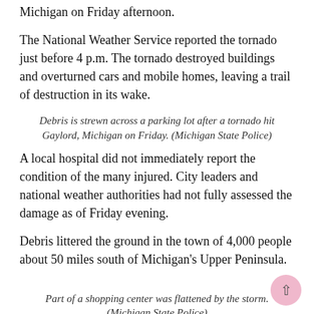Michigan on Friday afternoon.
The National Weather Service reported the tornado just before 4 p.m. The tornado destroyed buildings and overturned cars and mobile homes, leaving a trail of destruction in its wake.
Debris is strewn across a parking lot after a tornado hit Gaylord, Michigan on Friday. (Michigan State Police)
A local hospital did not immediately report the condition of the many injured. City leaders and national weather authorities had not fully assessed the damage as of Friday evening.
Debris littered the ground in the town of 4,000 people about 50 miles south of Michigan's Upper Peninsula.
Part of a shopping center was flattened by the storm. (Michigan State Police)
Witnesses said the tornado passed through the most populated area of the city.
“I’m lucky to be alive. It blew up the back of the building,” auto